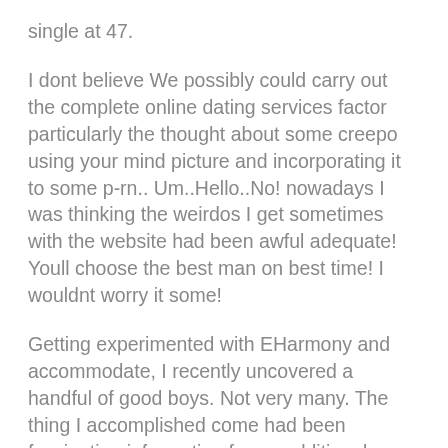single at 47.
I dont believe We possibly could carry out the complete online dating services factor particularly the thought about some creepo using your mind picture and incorporating it to some p-rn.. Um..Hello..No! nowadays I was thinking the weirdos I get sometimes with the website had been awful adequate! Youll choose the best man on best time! I wouldnt worry it some!
Getting experimented with EHarmony and accommodate, I recently uncovered a handful of good boys. Not very many. The thing I accomplished come had been fascinating information for an additional moment I came across up with friends. If the concern came up whats unique along I got an